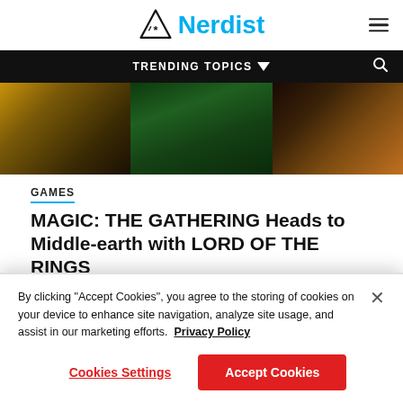[Figure (logo): Nerdist website logo: triangle with asterisk icon and 'Nerdist' text in cyan blue]
TRENDING TOPICS ▼
[Figure (photo): Hero image showing fantasy/gaming artwork with three panels: golden warrior figure, green dragon or creature, and dark rocky volcanic scene]
GAMES
MAGIC: THE GATHERING Heads to Middle-earth with LORD OF THE RINGS
By clicking "Accept Cookies", you agree to the storing of cookies on your device to enhance site navigation, analyze site usage, and assist in our marketing efforts. Privacy Policy
Cookies Settings
Accept Cookies